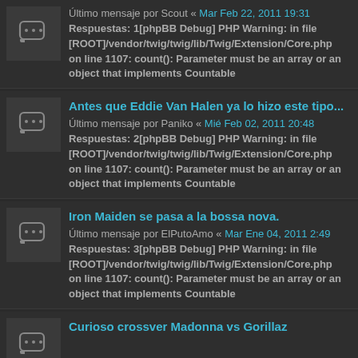Último mensaje por Scout « Mar Feb 22, 2011 19:31
Respuestas: 1[phpBB Debug] PHP Warning: in file [ROOT]/vendor/twig/twig/lib/Twig/Extension/Core.php on line 1107: count(): Parameter must be an array or an object that implements Countable
Antes que Eddie Van Halen ya lo hizo este tipo...
Último mensaje por Paniko « Mié Feb 02, 2011 20:48
Respuestas: 2[phpBB Debug] PHP Warning: in file [ROOT]/vendor/twig/twig/lib/Twig/Extension/Core.php on line 1107: count(): Parameter must be an array or an object that implements Countable
Iron Maiden se pasa a la bossa nova.
Último mensaje por ElPutoAmo « Mar Ene 04, 2011 2:49
Respuestas: 3[phpBB Debug] PHP Warning: in file [ROOT]/vendor/twig/twig/lib/Twig/Extension/Core.php on line 1107: count(): Parameter must be an array or an object that implements Countable
Curioso crossver Madonna vs Gorillaz